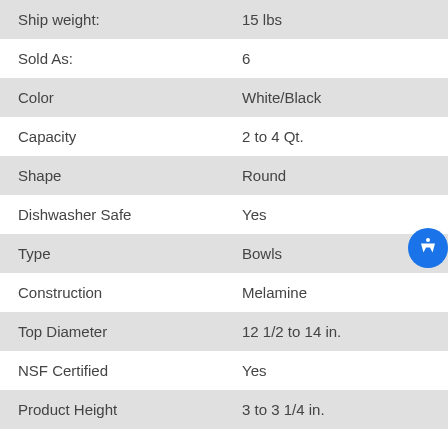| Property | Value |
| --- | --- |
| Ship weight: | 15 lbs |
| Sold As: | 6 |
| Color | White/Black |
| Capacity | 2 to 4 Qt. |
| Shape | Round |
| Dishwasher Safe | Yes |
| Type | Bowls |
| Construction | Melamine |
| Top Diameter | 12 1/2 to 14 in. |
| NSF Certified | Yes |
| Product Height | 3 to 3 1/4 in. |